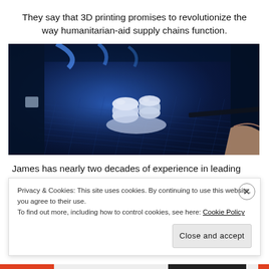They say that 3D printing promises to revolutionize the way humanitarian-aid supply chains function.
[Figure (photo): A 3D printer illuminated in blue light, with white plastic parts being printed on the build plate. A person's hand is visible at the lower right.]
James has nearly two decades of experience in leading
Privacy & Cookies: This site uses cookies. By continuing to use this website, you agree to their use.
To find out more, including how to control cookies, see here: Cookie Policy
Close and accept